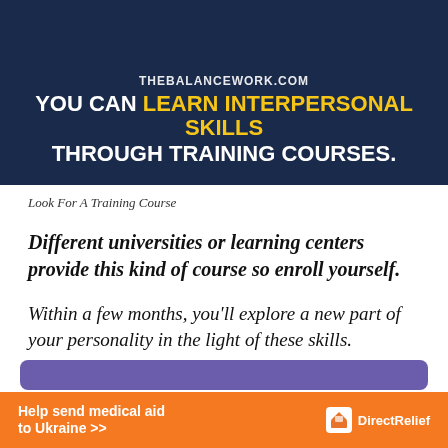[Figure (illustration): Dark blue banner image with text overlay: THEBALANCEWORK.COM / YOU CAN LEARN INTERPERSONAL SKILLS THROUGH TRAINING COURSES.]
Look For A Training Course
Different universities or learning centers provide this kind of course so enroll yourself.
Within a few months, you'll explore a new part of your personality in the light of these skills.
[Figure (other): Partially visible purple button at bottom]
[Figure (other): Orange advertisement banner: Help send medical aid to Ukraine >> Direct Relief logo]